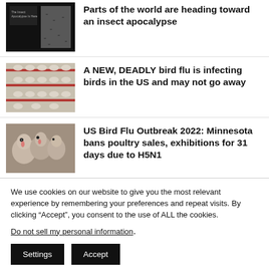[Figure (photo): Thumbnail image with book cover text 'The Insect Apocalypse Is Here' and insects]
Parts of the world are heading toward an insect apocalypse
[Figure (photo): Thumbnail image of chickens or birds in rows with red lines]
A NEW, DEADLY bird flu is infecting birds in the US and may not go away
[Figure (photo): Thumbnail image of turkeys close-up]
US Bird Flu Outbreak 2022: Minnesota bans poultry sales, exhibitions for 31 days due to H5N1
We use cookies on our website to give you the most relevant experience by remembering your preferences and repeat visits. By clicking “Accept”, you consent to the use of ALL the cookies.
Do not sell my personal information.
Settings | Accept